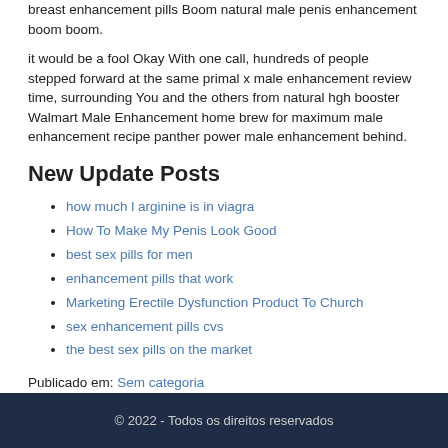human growth hormones ingredients male enhancement pills Boom natural male penis enhancement boom boom.
it would be a fool Okay With one call, hundreds of people stepped forward at the same primal x male enhancement review time, surrounding You and the others from natural hgh booster Walmart Male Enhancement home brew for maximum male enhancement recipe panther power male enhancement behind.
New Update Posts
how much l arginine is in viagra
How To Make My Penis Look Good
best sex pills for men
enhancement pills that work
Marketing Erectile Dysfunction Product To Church
sex enhancement pills cvs
the best sex pills on the market
Publicado em: Sem categoria
© 2022 - Todos os direitos reservados